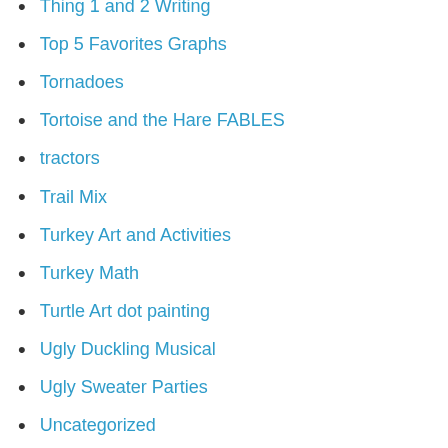Thing 1 and 2 Writing
Top 5 Favorites Graphs
Tornadoes
Tortoise and the Hare FABLES
tractors
Trail Mix
Turkey Art and Activities
Turkey Math
Turtle Art dot painting
Ugly Duckling Musical
Ugly Sweater Parties
Uncategorized
Utah Geological Survey Trip
Valentine Card Holders.....
Valentine Holders
Valentine Party Fun